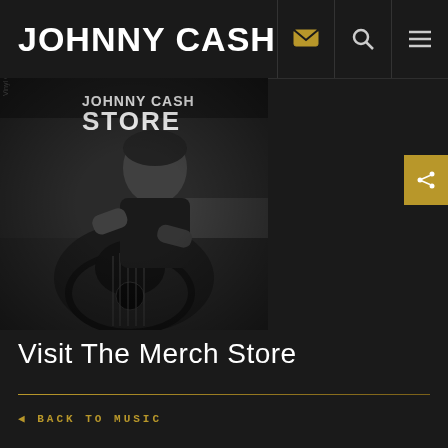JOHNNY CASH
[Figure (photo): Black and white photo of Johnny Cash holding an acoustic guitar with text 'JOHNNY CASH STORE' overlaid in white]
Visit The Merch Store
◄ BACK TO MUSIC